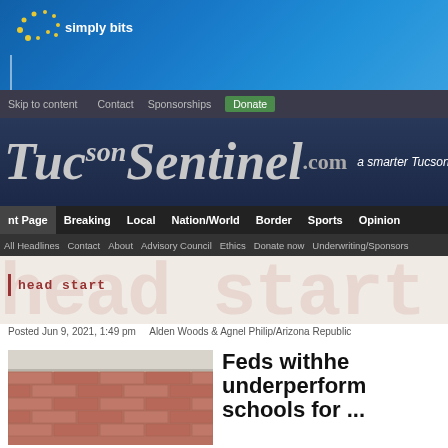[Figure (illustration): Simply Bits advertisement banner: logo with dots pattern, company name 'simply bits', tagline 'smart solutions for your business communication n...']
Skip to content   Contact   Sponsorships   Donate
[Figure (logo): TucsonSentinel.com logo with tagline 'a smarter Tucson...']
nt Page   Breaking   Local   Nation/World   Border   Sports   Opinion
All Headlines   Contact   About   Advisory Council   Ethics   Donate now   Underwriting/Sponsors
head start
Posted Jun 9, 2021, 1:49 pm   Alden Woods & Agnel Philip/Arizona Republic
[Figure (photo): Close-up photograph of brick wall with concrete ledge/sill on top]
Feds withhe underperform schools for ...